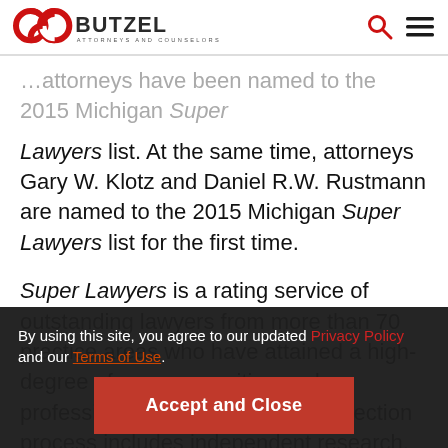Butzel – Attorneys and Counselors (logo, search icon, menu icon)
attorneys have been named to the 2015 Michigan Super Lawyers list. At the same time, attorneys Gary W. Klotz and Daniel R.W. Rustmann are named to the 2015 Michigan Super Lawyers list for the first time.
Super Lawyers is a rating service of outstanding lawyers from more than 70 practice areas who have attained a high-degree of peer recognition and professional achievement. The selection process includes independent research, peer nominations and evaluations.
The Butzel Long attorneys included in the
By using this site, you agree to our updated Privacy Policy and our Terms of Use.
Accept and Close